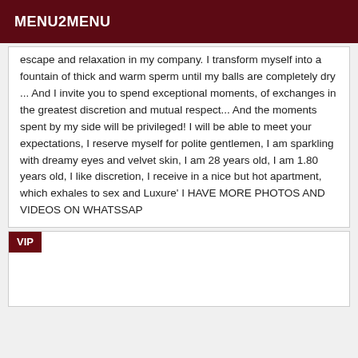MENU2MENU
escape and relaxation in my company. I transform myself into a fountain of thick and warm sperm until my balls are completely dry ... And I invite you to spend exceptional moments, of exchanges in the greatest discretion and mutual respect... And the moments spent by my side will be privileged! I will be able to meet your expectations, I reserve myself for polite gentlemen, I am sparkling with dreamy eyes and velvet skin, I am 28 years old, I am 1.80 years old, I like discretion, I receive in a nice but hot apartment, which exhales to sex and Luxure' I HAVE MORE PHOTOS AND VIDEOS ON WHATSSAP
VIP